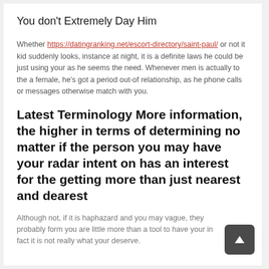You don't Extremely Day Him
Whether https://datingranking.net/escort-directory/saint-paul/ or not it kid suddenly looks, instance at night, it is a definite laws he could be just using your as he seems the need. Whenever men is actually to the a female, he's got a period out-of relationship, as he phone calls or messages otherwise match with you.
Latest Terminology More information, the higher in terms of determining no matter if the person you may have your radar intent on has an interest for the getting more than just nearest and dearest
Although not, if it is haphazard and you may vague, they probably form you are little more than a tool to have your in fact it is not really what your deserve.